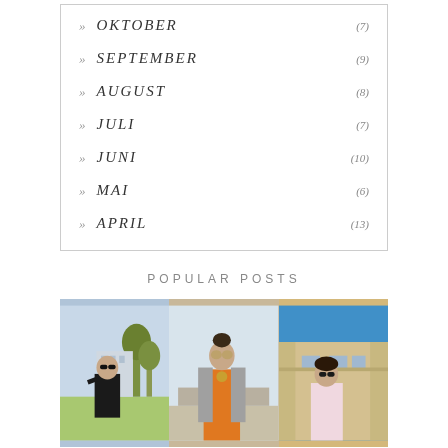» OKTOBER (7)
» SEPTEMBER (9)
» AUGUST (8)
» JULI (7)
» JUNI (10)
» MAI (6)
» APRIL (13)
POPULAR POSTS
[Figure (photo): Three fashion photos side by side: left shows a woman in black with sunglasses in a park, center shows a woman in orange dress with sunglasses, right shows a woman in sunglasses near a building under blue sky.]